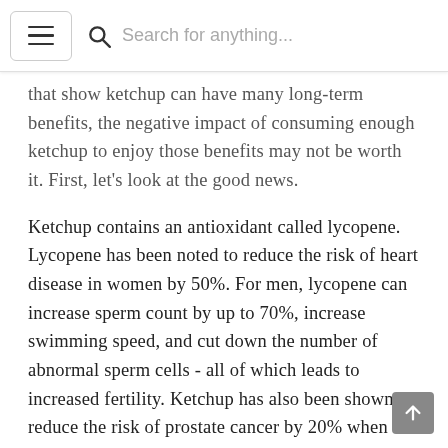Search for anything...
that show ketchup can have many long-term benefits, the negative impact of consuming enough ketchup to enjoy those benefits may not be worth it. First, let's look at the good news.
Ketchup contains an antioxidant called lycopene. Lycopene has been noted to reduce the risk of heart disease in women by 50%. For men, lycopene can increase sperm count by up to 70%, increase swimming speed, and cut down the number of abnormal sperm cells - all of which leads to increased fertility. Ketchup has also been shown to reduce the risk of prostate cancer by 20% when consumed at least twice per week, according to a long-term study involving over 45,000 men. In addition to these benefits,